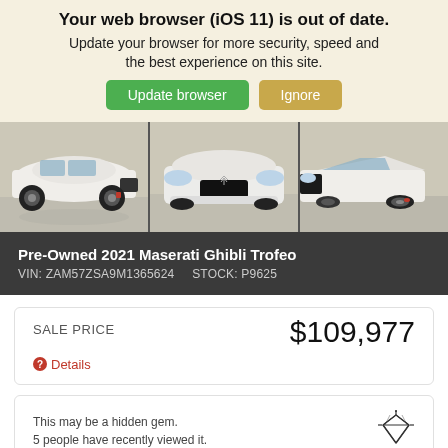Your web browser (iOS 11) is out of date. Update your browser for more security, speed and the best experience on this site.
[Figure (screenshot): Browser update warning banner with two buttons: 'Update browser' (green) and 'Ignore' (tan/gold)]
[Figure (photo): Three side-by-side photos of a white Maserati Ghibli Trofeo: left side view, front view, and right side view]
Pre-Owned 2021 Maserati Ghibli Trofeo
VIN: ZAM57ZSA9M1365624    STOCK: P9625
SALE PRICE
$109,977
Details
This may be a hidden gem.
5 people have recently viewed it.